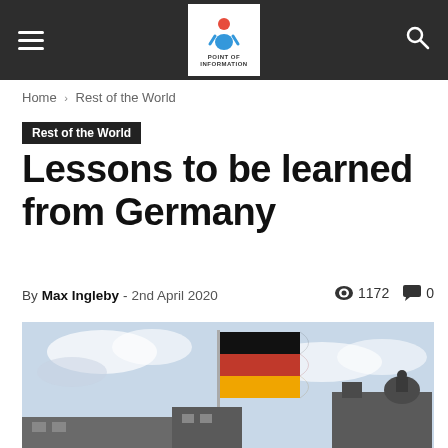Point of Information – navigation header
Home › Rest of the World
Rest of the World
Lessons to be learned from Germany
By Max Ingleby - 2nd April 2020   👁 1172   💬 0
[Figure (photo): German flag flying in front of a building against a cloudy sky]